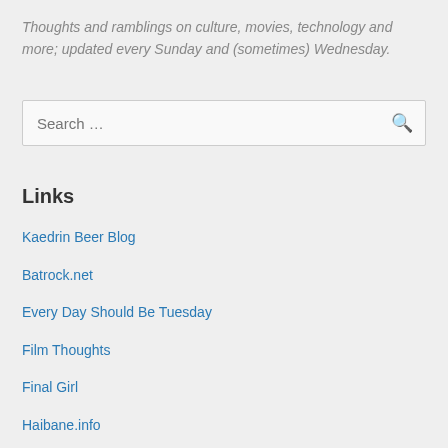Thoughts and ramblings on culture, movies, technology and more; updated every Sunday and (sometimes) Wednesday.
Search …
Links
Kaedrin Beer Blog
Batrock.net
Every Day Should Be Tuesday
Film Thoughts
Final Girl
Haibane.info
Little Red Reviewer